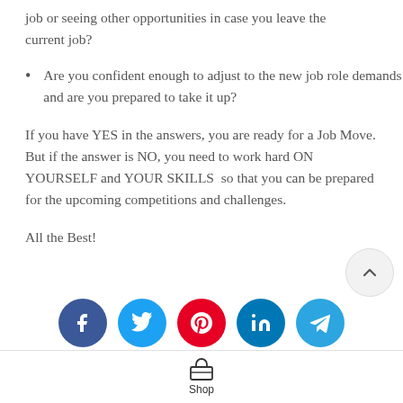job or seeing other opportunities in case you leave the current job?
Are you confident enough to adjust to the new job role demands and are you prepared to take it up?
If you have YES in the answers, you are ready for a Job Move. But if the answer is NO, you need to work hard ON YOURSELF and YOUR SKILLS  so that you can be prepared for the upcoming competitions and challenges.
All the Best!
[Figure (other): Social media share buttons: Facebook, Twitter, Pinterest, LinkedIn, Telegram]